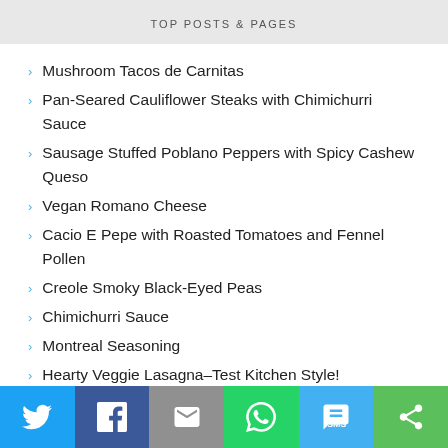TOP POSTS & PAGES
Mushroom Tacos de Carnitas
Pan-Seared Cauliflower Steaks with Chimichurri Sauce
Sausage Stuffed Poblano Peppers with Spicy Cashew Queso
Vegan Romano Cheese
Cacio E Pepe with Roasted Tomatoes and Fennel Pollen
Creole Smoky Black-Eyed Peas
Chimichurri Sauce
Montreal Seasoning
Hearty Veggie Lasagna–Test Kitchen Style!
Spinach and Mushroom Gnocchi with Cashew Béchamel